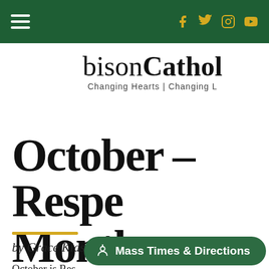bisonCatholic — Changing Hearts | Changing Lives
October – Respect Life Month
by Grace Klassen
October is Respect Life Month…
🎤 Mass Times & Directions